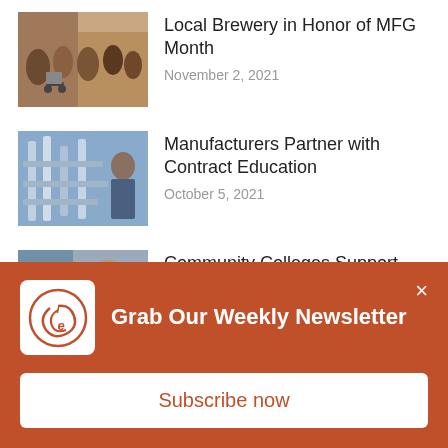[Figure (photo): People at a community event, including someone in a wheelchair, at tables with tools/crafts]
Local Brewery in Honor of MFG Month
November 2, 2021
[Figure (photo): Industrial machinery and equipment with a worker]
Manufacturers Partner with Contract Education
October 5, 2021
[Figure (photo): Man working on machinery or equipment close-up]
Community Colleges Support Manufacturing Workforce
September 9, 2021
[Figure (logo): IE logo circular emblem in white on orange background]
Grab Our Weekly Newsletter
Subscribe now